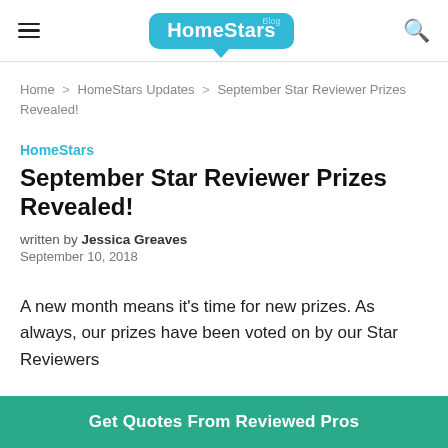HomeStars Blog
Home > HomeStars Updates > September Star Reviewer Prizes Revealed!
HomeStars
September Star Reviewer Prizes Revealed!
written by Jessica Greaves
September 10, 2018
A new month means it's time for new prizes. As always, our prizes have been voted on by our Star Reviewers
Get Quotes From Reviewed Pros